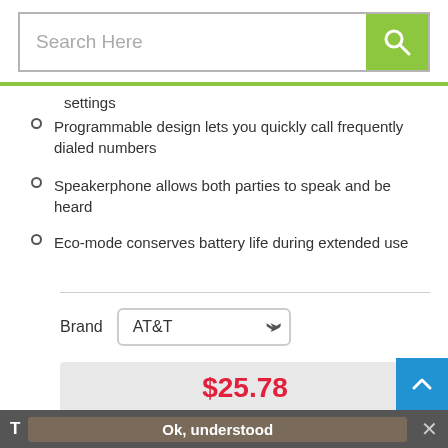Search Here
settings
Programmable design lets you quickly call frequently dialed numbers
Speakerphone allows both parties to speak and be heard
Eco-mode conserves battery life during extended use
Brand: AT&T
$25.78
1
Add to Cart
Ok, understood